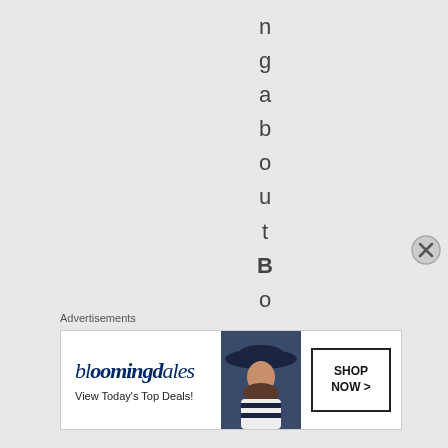ngaboutBoysOv
[Figure (illustration): Close/dismiss button (circled X) in the bottom right area of the main content region]
Advertisements
[Figure (other): Bloomingdale's advertisement banner showing logo, 'View Today's Top Deals!' text, a model wearing a wide-brim hat, and a 'SHOP NOW >' button]